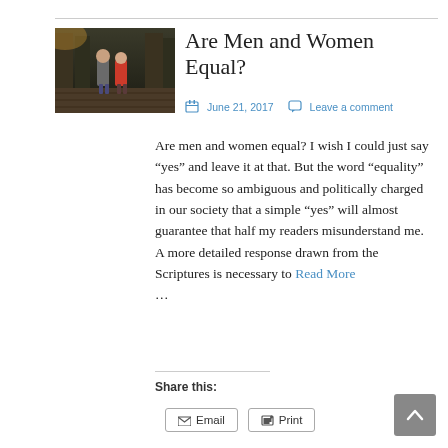[Figure (photo): Two children, a boy and a girl, standing on a wooden walkway or path. The boy wears a grey jacket and the girl wears a red jacket.]
Are Men and Women Equal?
June 21, 2017   Leave a comment
Are men and women equal? I wish I could just say “yes” and leave it at that. But the word “equality” has become so ambiguous and politically charged in our society that a simple “yes” will almost guarantee that half my readers misunderstand me. A more detailed response drawn from the Scriptures is necessary to Read More …
Share this:
Email   Print